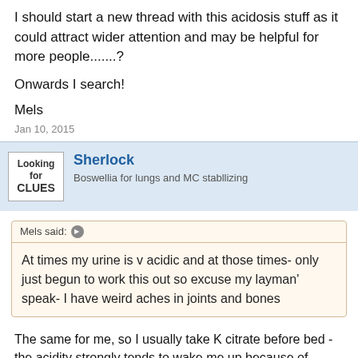I should start a new thread with this acidosis stuff as it could attract wider attention and may be helpful for more people.......?
Onwards I search!
Mels
Jan 10, 2015
Sherlock
Boswellia for lungs and MC stabllizing
Mels said: At times my urine is v acidic and at those times- only just begun to work this out so excuse my layman' speak- I have weird aches in joints and bones
The same for me, so I usually take K citrate before bed - the acidity strongly tends to wake me up because of nocturia.